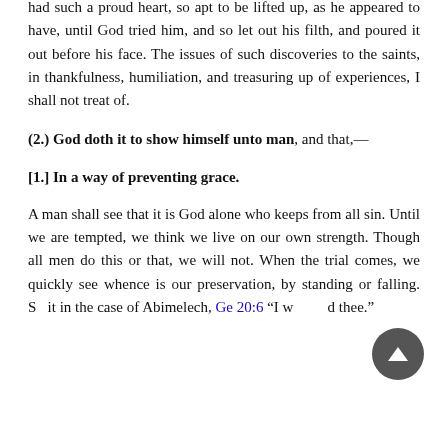had such a proud heart, so apt to be lifted up, as he appeared to have, until God tried him, and so let out his filth, and poured it out before his face. The issues of such discoveries to the saints, in thankfulness, humiliation, and treasuring up of experiences, I shall not treat of.
(2.) God doth it to show himself unto man, and that,—
[1.] In a way of preventing grace.
A man shall see that it is God alone who keeps from all sin. Until we are tempted, we think we live on our own strength. Though all men do this or that, we will not. When the trial comes, we quickly see whence is our preservation, by standing or falling. So it in the case of Abimelech, Ge 20:6 "I withheld thee."